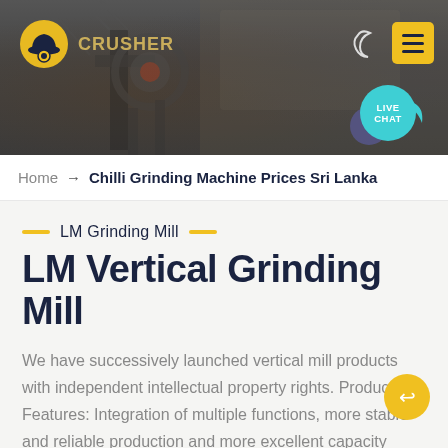[Figure (screenshot): Website header with dark industrial/mining background image, company logo (hard hat icon) on left, moon icon and yellow menu button on upper right, teal LIVE CHAT bubble on lower right]
Home → Chilli Grinding Machine Prices Sri Lanka
LM Grinding Mill
LM Vertical Grinding Mill
We have successively launched vertical mill products with independent intellectual property rights. Product Features: Integration of multiple functions, more stable and reliable production and more excellent capacity